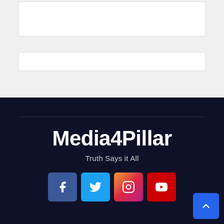[Figure (screenshot): Top section with light grey background containing two white rectangular boxes (UI widget placeholders)]
Media4Pillar
Truth Says it All
[Figure (other): Social media icon buttons: Facebook (blue), Twitter (light blue), Instagram (gradient), YouTube (red)]
[Figure (other): Scroll-to-top button (blue, arrow up) in bottom right corner]